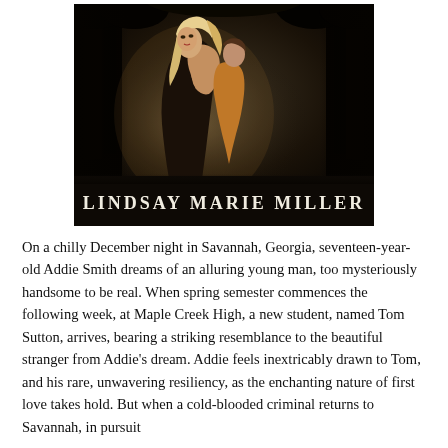[Figure (illustration): Book cover for a novel by Lindsay Marie Miller. Dark, atmospheric background of forest/trees at night. A blonde woman in a black dress embraces a man in an orange/tan shirt from behind, both looking toward viewer. At the bottom of the cover, text reads 'LINDSAY MARIE MILLER' in bold serif white letters on a dark background.]
On a chilly December night in Savannah, Georgia, seventeen-year-old Addie Smith dreams of an alluring young man, too mysteriously handsome to be real. When spring semester commences the following week, at Maple Creek High, a new student, named Tom Sutton, arrives, bearing a striking resemblance to the beautiful stranger from Addie's dream. Addie feels inextricably drawn to Tom, and his rare, unwavering resiliency, as the enchanting nature of first love takes hold. But when a cold-blooded criminal returns to Savannah, in pursuit